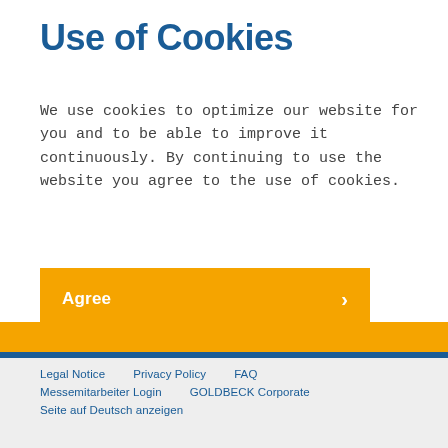Use of Cookies
We use cookies to optimize our website for you and to be able to improve it continuously. By continuing to use the website you agree to the use of cookies.
Agree
More Information
Legal Notice    Privacy Policy    FAQ    Messemitarbeiter Login    GOLDBECK Corporate    Seite auf Deutsch anzeigen